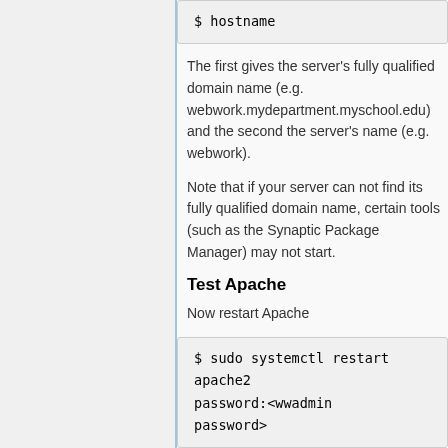$ hostname
The first gives the server's fully qualified domain name (e.g. webwork.mydepartment.myschool.edu) and the second the server's name (e.g. webwork).
Note that if your server can not find its fully qualified domain name, certain tools (such as the Synaptic Package Manager) may not start.
Test Apache
Now restart Apache
$ sudo systemctl restart apache2
password:<wwadmin
password>